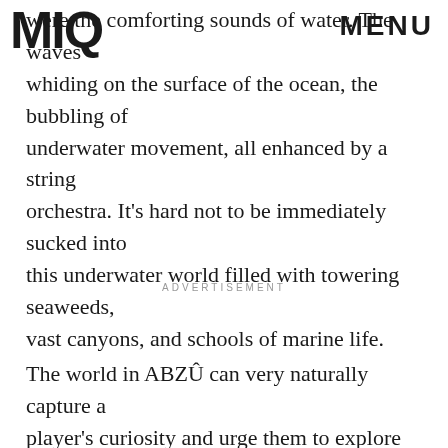MIQ | MENU
were the comforting sounds of water. The waves whiding on the surface of the ocean, the bubbling of underwater movement, all enhanced by a string orchestra. It's hard not to be immediately sucked into this underwater world filled with towering seaweeds, vast canyons, and schools of marine life.
ADVERTISEMENT
The world in ABZÛ can very naturally capture a player's curiosity and urge them to explore without a single command. If you're a swimmer, you're gonna